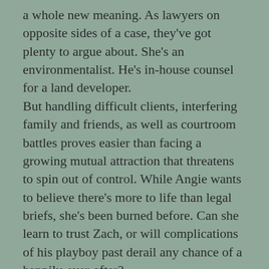a whole new meaning. As lawyers on opposite sides of a case, they've got plenty to argue about. She's an environmentalist. He's in-house counsel for a land developer. But handling difficult clients, interfering family and friends, as well as courtroom battles proves easier than facing a growing mutual attraction that threatens to spin out of control. While Angie wants to believe there's more to life than legal briefs, she's been burned before. Can she learn to trust Zach, or will complications of his playboy past derail any chance of a happily-ever-after?
(Please note: Though this is the third book in the